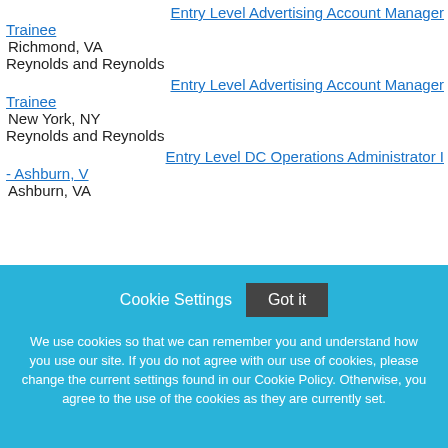Entry Level Advertising Account Manager Trainee
Richmond, VA
Reynolds and Reynolds
Entry Level Advertising Account Manager Trainee
New York, NY
Reynolds and Reynolds
Entry Level DC Operations Administrator I - Ashburn, V
Ashburn, VA
Cookie Settings  Got it
We use cookies so that we can remember you and understand how you use our site. If you do not agree with our use of cookies, please change the current settings found in our Cookie Policy. Otherwise, you agree to the use of the cookies as they are currently set.